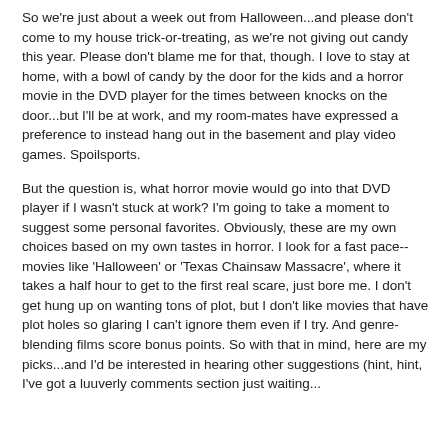So we're just about a week out from Halloween...and please don't come to my house trick-or-treating, as we're not giving out candy this year. Please don't blame me for that, though. I love to stay at home, with a bowl of candy by the door for the kids and a horror movie in the DVD player for the times between knocks on the door...but I'll be at work, and my room-mates have expressed a preference to instead hang out in the basement and play video games. Spoilsports.
But the question is, what horror movie would go into that DVD player if I wasn't stuck at work? I'm going to take a moment to suggest some personal favorites. Obviously, these are my own choices based on my own tastes in horror. I look for a fast pace--movies like 'Halloween' or 'Texas Chainsaw Massacre', where it takes a half hour to get to the first real scare, just bore me. I don't get hung up on wanting tons of plot, but I don't like movies that have plot holes so glaring I can't ignore them even if I try. And genre-blending films score bonus points. So with that in mind, here are my picks...and I'd be interested in hearing other suggestions (hint, hint, I've got a luuverly comments section just waiting...